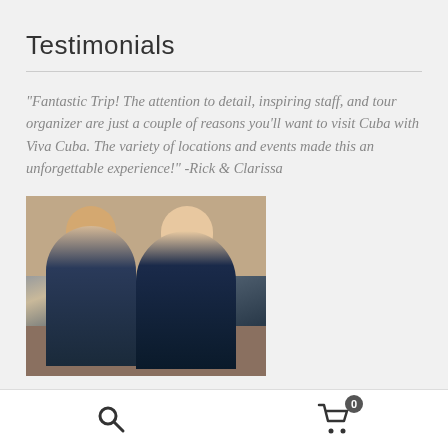Testimonials
“Fantastic Trip! The attention to detail, inspiring staff, and tour organizer are just a couple of reasons you’ll want to visit Cuba with Viva Cuba.  The variety of locations and events made this an unforgettable experience!” -Rick & Clarissa
[Figure (photo): Photo of Rick and Clarissa, a couple posing together outdoors in front of a brick wall]
Search icon and shopping cart icon with badge showing 0